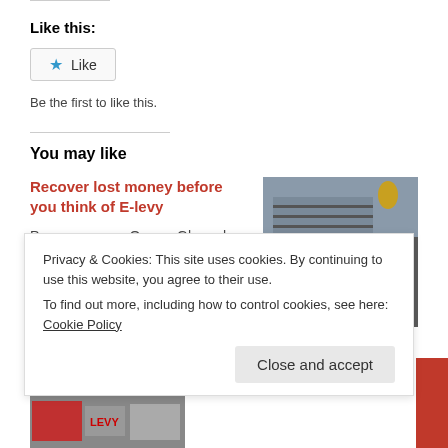Like this:
Like
Be the first to like this.
You may like
Recover lost money before you think of E-levy
Pressure group OccupyGhana has waded into the argument of the controversial electronic transaction levy known as
[Figure (photo): GRA (Ghana Revenue Authority) building exterior with logo sign]
Privacy & Cookies: This site uses cookies. By continuing to use this website, you agree to their use.
To find out more, including how to control cookies, see here: Cookie Policy
Close and accept
[Figure (photo): Protest scene with LEVY sign visible]